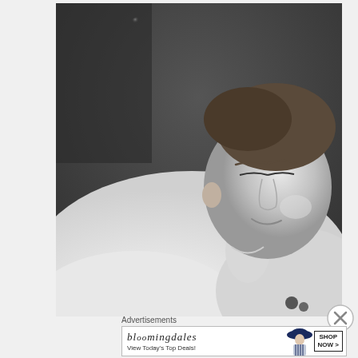[Figure (photo): Black and white photograph of a young man smiling, looking slightly downward, wearing a white t-shirt. Background is dark/grey. Photo is in monochrome style.]
Advertisements
[Figure (photo): Bloomingdale's advertisement banner. Shows bloomingdales logo in italic text, tagline 'View Today's Top Deals!', woman wearing a large brimmed hat, and 'SHOP NOW >' call to action button in a box.]